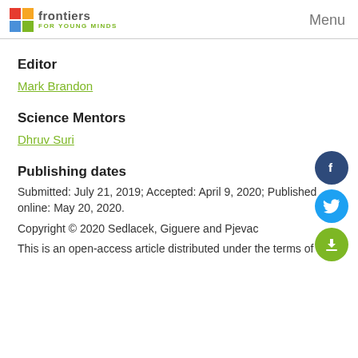frontiers FOR YOUNG MINDS | Menu
Editor
Mark Brandon
Science Mentors
Dhruv Suri
Publishing dates
Submitted: July 21, 2019; Accepted: April 9, 2020; Published online: May 20, 2020.
Copyright © 2020 Sedlacek, Giguere and Pjevac
This is an open-access article distributed under the terms of